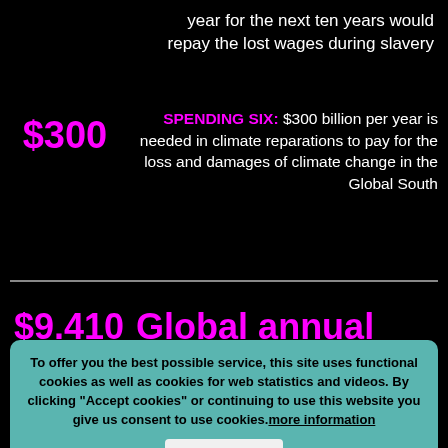year for the next ten years would repay the lost wages during slavery
SPENDING SIX: $300 billion per year is needed in climate reparations to pay for the loss and damages of climate change in the Global South
$9.410  Global annual
To offer you the best possible service, this site uses functional cookies as well as cookies for web statistics and videos. By clicking "Accept cookies" or continuing to use this website you give us consent to use cookies. more information
$4417  A global wealth tax could raise $4.417 trillion a year